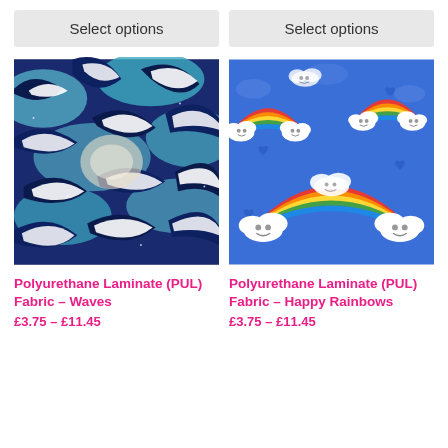Select options
Select options
[Figure (photo): Polyurethane laminate fabric with Japanese-style ocean waves pattern in navy blue, teal, and white]
[Figure (photo): Polyurethane laminate fabric with happy clouds and rainbow pattern on blue background]
Polyurethane Laminate (PUL) Fabric – Waves
Polyurethane Laminate (PUL) Fabric – Happy Rainbows
£3.75 – £11.45
£3.75 – £11.45